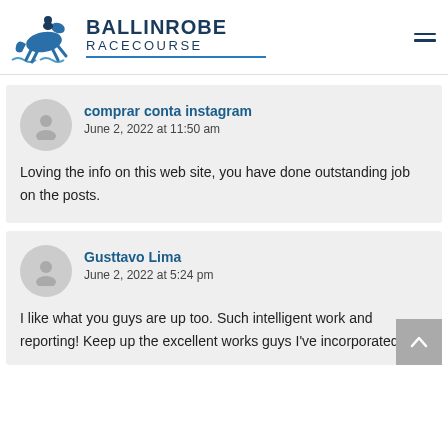BALLINROBE RACECOURSE
comprar conta instagram
June 2, 2022 at 11:50 am

Loving the info on this web site, you have done outstanding job on the posts.
Gusttavo Lima
June 2, 2022 at 5:24 pm

I like what you guys are up too. Such intelligent work and reporting! Keep up the excellent works guys I've incorporated you